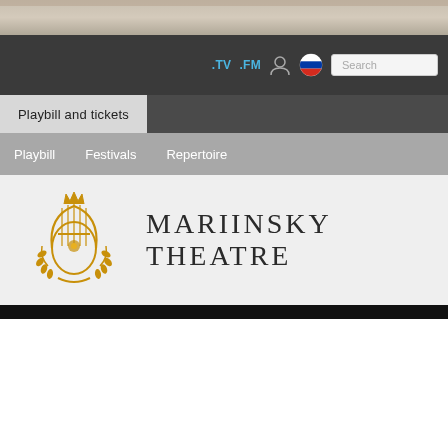[Figure (photo): Top decorative image strip showing a blurred scenic photograph of the Mariinsky Theatre exterior]
.TV  .FM  [user icon]  [Russian flag]  Search
Playbill and tickets
Playbill   Festivals   Repertoire
[Figure (logo): Mariinsky Theatre golden lyre emblem with ornate decorative elements]
MARIINSKY THEATRE